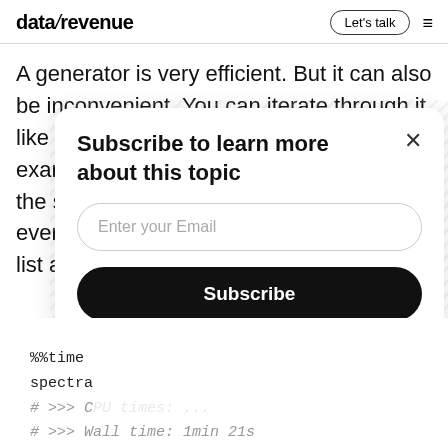datarevenue  Let's talk  ☰
A generator is very efficient. But it can also be inconvenient. You can iterate through it like you would a list. But you can't, for example, access the third spectrum using the syntax specs[2]. For convenience, everything into a list as follow
%%time
spectra
# >>> C
# >>> Wall time: 1min 21s
[Figure (screenshot): Subscribe modal dialog with title 'Subscribe to learn more about this topic', an email input field, and a Subscribe button]